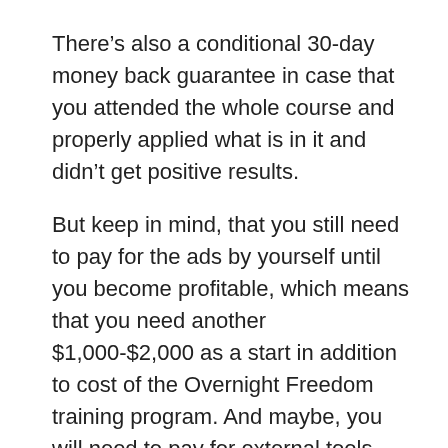There’s also a conditional 30-day money back guarantee in case that you attended the whole course and properly applied what is in it and didn’t get positive results.
But keep in mind, that you still need to pay for the ads by yourself until you become profitable, which means that you need another $1,000-$2,000 as a start in addition to cost of the Overnight Freedom training program. And maybe, you will need to pay for external tools and web hosting.
If you have this amount of money to invest, then you can go ahead and start get the Free